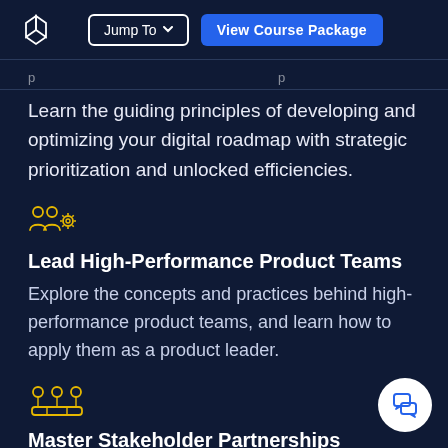Jump To | View Course Package
Learn the guiding principles of developing and optimizing your digital roadmap with strategic prioritization and unlocked efficiencies.
[Figure (illustration): Yellow icon representing team with gear/settings symbol]
Lead High-Performance Product Teams
Explore the concepts and practices behind high-performance product teams, and learn how to apply them as a product leader.
[Figure (illustration): Yellow icon representing group of people/team]
Master Stakeholder Partnerships